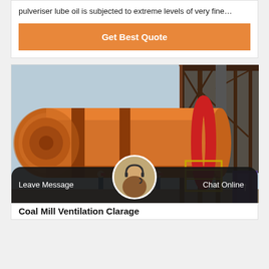pulveriser lube oil is subjected to extreme levels of very fine…
Get Best Quote
[Figure (photo): Large orange industrial rotary kiln or ball mill at an industrial facility with workers, scaffolding, and red structural steel in the background]
Leave Message
Chat Online
Coal Mill Ventilation Clarage